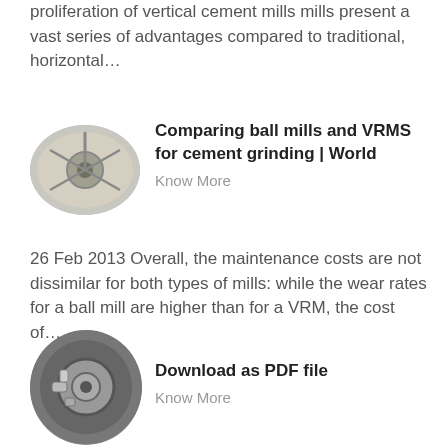proliferation of vertical cement mills mills present a vast series of advantages compared to traditional, horizontal…
[Figure (photo): Oval/elliptical photo of industrial mill equipment seen from above, showing circular grinding table with mechanical arm]
Comparing ball mills and VRMS for cement grinding | World
Know More
26 Feb 2013 Overall, the maintenance costs are not dissimilar for both types of mills: while the wear rates for a ball mill are higher than for a VRM, the cost of…
[Figure (photo): Oval/circular photo of industrial grinding mill machinery, showing metal mechanical components close-up]
Download as PDF file
Know More